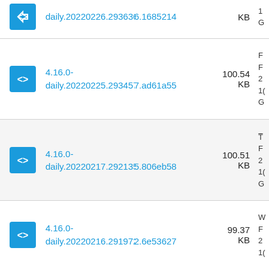daily.20220226.293636.1685214  KB
4.16.0-daily.20220225.293457.ad61a55  100.54 KB
4.16.0-daily.20220217.292135.806eb58  100.51 KB
4.16.0-daily.20220216.291972.6e53627  99.37 KB